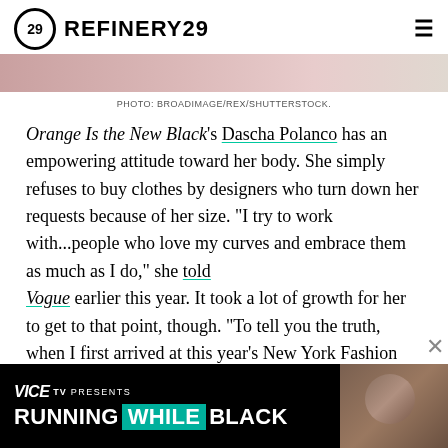REFINERY29
[Figure (photo): Cropped photo strip at top of page, showing people in background]
PHOTO: BROADIMAGE/REX/SHUTTERSTOCK.
Orange Is the New Black's Dascha Polanco has an empowering attitude toward her body. She simply refuses to buy clothes by designers who turn down her requests because of her size. "I try to work with...people who love my curves and embrace them as much as I do," she told Vogue earlier this year. It took a lot of growth for her to get to that point, though. "To tell you the truth, when I first arrived at this year's New York Fashion Week wearing a tight bodysuit that completely revealed my thighs, I was a little nervous. I kept on covering myself up with my jacket and I j
"There's a lot of insecurity within every person — woman
[Figure (screenshot): VICE TV PRESENTS RUNNING WHILE BLACK advertisement overlay with photo of woman]